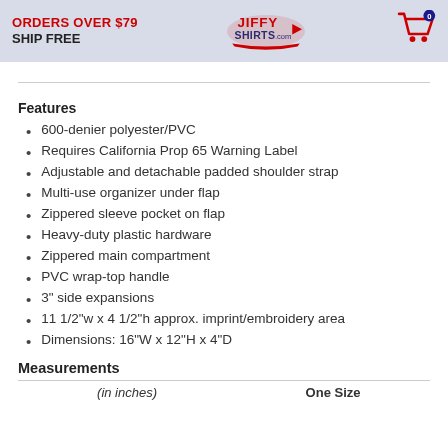ORDERS OVER $79 SHIP FREE | JiffyShirts.com | Cart: 0
Features
600-denier polyester/PVC
Requires California Prop 65 Warning Label
Adjustable and detachable padded shoulder strap
Multi-use organizer under flap
Zippered sleeve pocket on flap
Heavy-duty plastic hardware
Zippered main compartment
PVC wrap-top handle
3" side expansions
11 1/2"w x 4 1/2"h approx. imprint/embroidery area
Dimensions: 16"W x 12"H x 4"D
Measurements
| (in inches) | One Size |
| --- | --- |